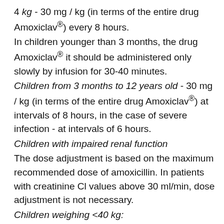4 kg - 30 mg / kg (in terms of the entire drug Amoxiclav®) every 8 hours.
In children younger than 3 months, the drug Amoxiclav® it should be administered only slowly by infusion for 30-40 minutes.
Children from 3 months to 12 years old - 30 mg / kg (in terms of the entire drug Amoxiclav®) at intervals of 8 hours, in the case of severe infection - at intervals of 6 hours.
Children with impaired renal function
The dose adjustment is based on the maximum recommended dose of amoxicillin. In patients with creatinine Cl values above 30 ml/min, dose adjustment is not necessary.
Children weighing <40 kg: